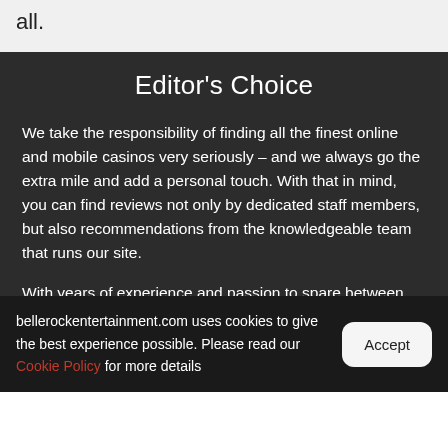all.
Editor's Choice
We take the responsibility of finding all the finest online and mobile casinos very seriously – and we always go the extra mile and add a personal touch. With that in mind, you can find reviews not only by dedicated staff members, but also recommendations from the knowledgeable team that runs our site.
With years of experience and passion to spare between us, we'll let you in on the casinos that we like best, and tell you why they are simply exceptional. We also cover
bellerockentertainment.com uses cookies to give the best experience possible. Please read our Cookie Policy for more details